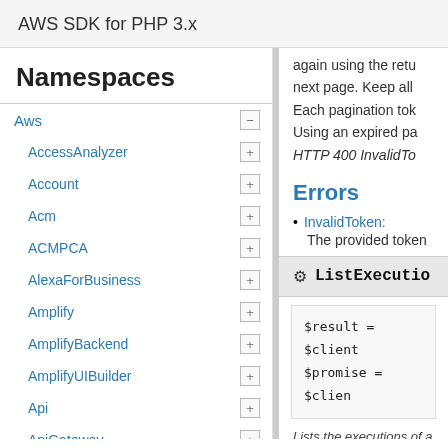AWS SDK for PHP 3.x
Namespaces
Aws
AccessAnalyzer
Account
Acm
ACMPCA
AlexaForBusiness
Amplify
AmplifyBackend
AmplifyUIBuilder
Api
ApiGateway
ApiGatewayManagementApi
again using the retu next page. Keep all Each pagination tok Using an expired pa HTTP 400 InvalidTo
Errors
InvalidToken:
The provided token
ListExecution
$result = $client
$promise = $clien
Lists the executions of a s